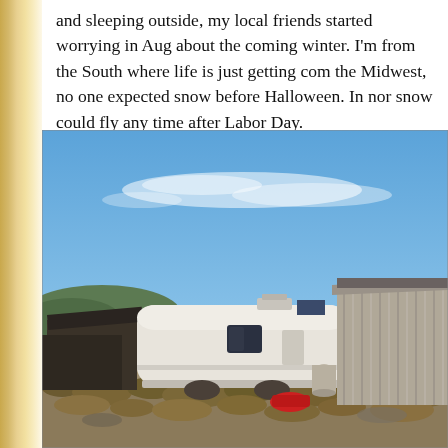and sleeping outside, my local friends started worrying in August about the coming winter. I'm from the South where life is just getting comfortable. In the Midwest, no one expected snow before Halloween. In north... snow could fly any time after Labor Day.
[Figure (photo): An abandoned or dilapidated white travel trailer/camper parked next to a corrugated metal building in a rural desert setting. Dry shrubs and brush in the foreground, blue sky with wispy clouds above, hills in the background. A red object is visible near the base of the trailer.]